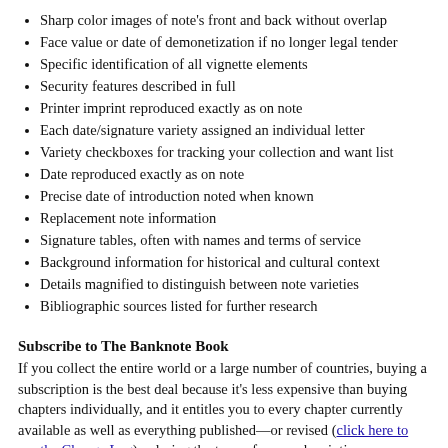Sharp color images of note's front and back without overlap
Face value or date of demonetization if no longer legal tender
Specific identification of all vignette elements
Security features described in full
Printer imprint reproduced exactly as on note
Each date/signature variety assigned an individual letter
Variety checkboxes for tracking your collection and want list
Date reproduced exactly as on note
Precise date of introduction noted when known
Replacement note information
Signature tables, often with names and terms of service
Background information for historical and cultural context
Details magnified to distinguish between note varieties
Bibliographic sources listed for further research
Subscribe to The Banknote Book
If you collect the entire world or a large number of countries, buying a subscription is the best deal because it's less expensive than buying chapters individually, and it entitles you to every chapter currently available as well as everything published—or revised (click here to see the Change Log)—during the term of your subscription.